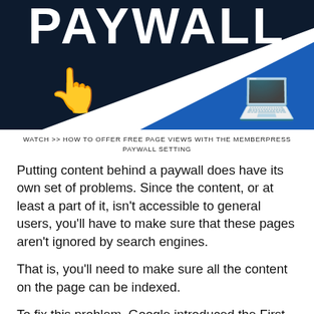[Figure (illustration): Banner graphic with dark navy background showing partial text 'PAYWALL' in large white letters with yellow pointing finger emoji on the left and a laptop computer emoji on the right, with a blue triangle in the lower right corner.]
WATCH >> HOW TO OFFER FREE PAGE VIEWS WITH THE MEMBERPRESS PAYWALL SETTING
Putting content behind a paywall does have its own set of problems. Since the content, or at least a part of it, isn't accessible to general users, you'll have to make sure that these pages aren't ignored by search engines.
That is, you'll need to make sure all the content on the page can be indexed.
To fix this problem, Google introduced the First Click Free (FCF) policy years ago. To comply with